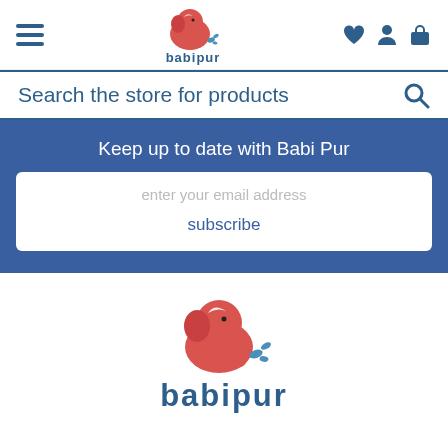[Figure (logo): Babipur logo: red elephant with blue water splash and text 'babipur' in navbar]
Search the store for products
Keep up to date with Babi Pur
enter your email address
subscribe
[Figure (logo): Babipur large footer logo: red elephant with blue water splash and bold text 'babipur']